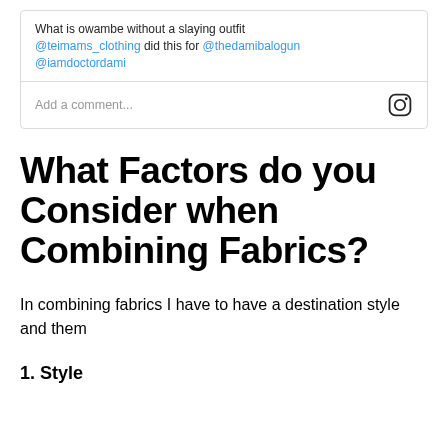What is owambe without a slaying outfit @teimams_clothing did this for @thedamibalogun @iamdoctordami
Add a comment...
What Factors do you Consider when Combining Fabrics?
In combining fabrics I have to have a destination style and them
1. Style